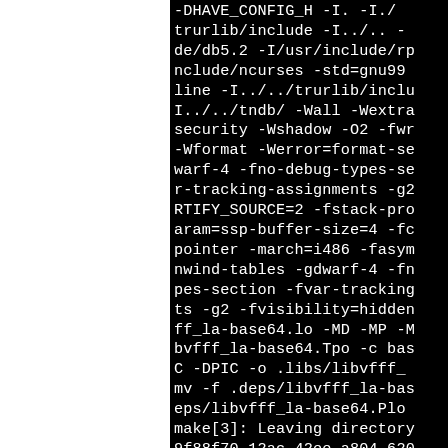-DHAVE_CONFIG_H -I. -I./ trurlib/include -I../.. - de/db5.2 -I/usr/include/rp nclude/ncurses -std=gnu99 line -I../../trurlib/inclu I../../tndb/ -Wall -Wextra security -Wshadow -O2 -fwr -Wformat -Werror=format-se warf-4 -fno-debug-types-se r-tracking-assignments -g2 RTIFY_SOURCE=2 -fstack-pro aram=ssp-buffer-size=4 -fc pointer -march=i486 -fasym nwind-tables -gdwarf-4 -fn pes-section -fvar-tracking ts -g2 -fvisibility=hidden ff_la-base64.lo -MD -MP -M bvfff_la-base64.Tpo -c bas C -DPIC -o .libs/libvfff_ mv -f .deps/libvfff_la-bas eps/libvfff_la-base64.Plo make[3]: Leaving directory 9f88f70-12ac-42ee-a804-620 BUILD/poldek-0.30.1/vfile